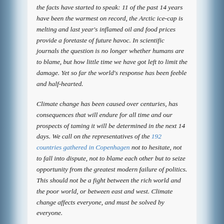the facts have started to speak: 11 of the past 14 years have been the warmest on record, the Arctic ice-cap is melting and last year's inflamed oil and food prices provide a foretaste of future havoc. In scientific journals the question is no longer whether humans are to blame, but how little time we have got left to limit the damage. Yet so far the world's response has been feeble and half-hearted.
Climate change has been caused over centuries, has consequences that will endure for all time and our prospects of taming it will be determined in the next 14 days. We call on the representatives of the 192 countries gathered in Copenhagen not to hesitate, not to fall into dispute, not to blame each other but to seize opportunity from the greatest modern failure of politics. This should not be a fight between the rich world and the poor world, or between east and west. Climate change affects everyone, and must be solved by everyone.
The science is complex but the facts are clear. The world needs to take steps to limit temperature rises to 2C, an aim that will require global emissions to peak and begin falling within the next 5-10 years. A bigger rise of 3-4C — the smallest increase